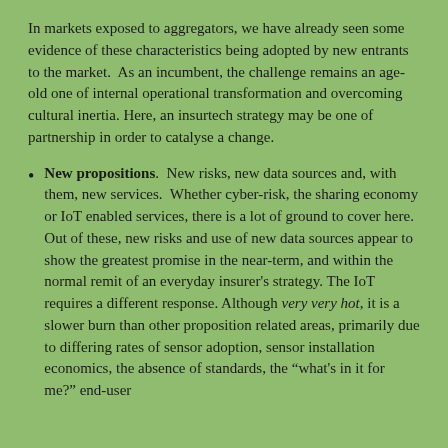In markets exposed to aggregators, we have already seen some evidence of these characteristics being adopted by new entrants to the market.  As an incumbent, the challenge remains an age-old one of internal operational transformation and overcoming cultural inertia. Here, an insurtech strategy may be one of partnership in order to catalyse a change.
New propositions.  New risks, new data sources and, with them, new services.  Whether cyber-risk, the sharing economy or IoT enabled services, there is a lot of ground to cover here.  Out of these, new risks and use of new data sources appear to show the greatest promise in the near-term, and within the normal remit of an everyday insurer’s strategy. The IoT requires a different response. Although very very hot, it is a slower burn than other proposition related areas, primarily due to differing rates of sensor adoption, sensor installation economics, the absence of standards, the “what’s in it for me?” end-user